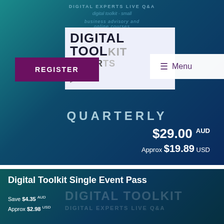DIGITAL EXPERTS LIVE Q&A
[Figure (screenshot): Digital Toolkit promotional web page screenshot showing a navigation menu with REGISTER button and Menu toggle, a QUARTERLY subscription priced at $29.00 AUD (Approx $19.89 USD), and a Digital Toolkit Single Event Pass priced at Save $4.35 AUD / Approx $2.98 USD]
business advisory and online courses
DIGITAL TOOLKIT
REGISTER
≡ Menu
QUARTERLY
$29.00 AUD
Approx $19.89 USD
Digital Toolkit Single Event Pass
Save $4.35 AUD
Approx $2.98 USD
DIGITAL TOOLKIT
DIGITAL EXPERTS LIVE Q&A